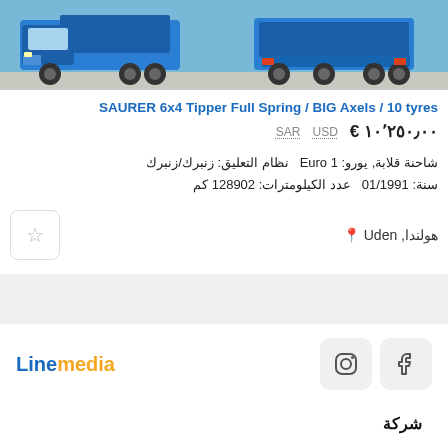[Figure (photo): Two blue SAURER tipper trucks shown side by side from the front/rear angles]
SAURER 6x4 Tipper Full Spring / BIG Axels / 10 tyres
SAR  USD  € ١٠٬٢٥٠٫٠٠
شاحنة قلابة, يورو: Euro 1  نظام التعليق: زنبرك/زنبرك سنة: 01/1991  عدد الكيلومترات: 128902 كم
هولندا, Uden
Linemedia
شركة